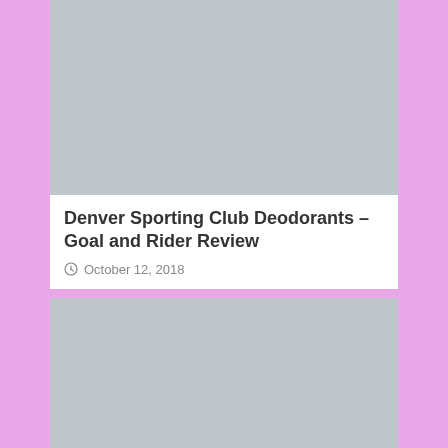[Figure (photo): Grey placeholder image at top of article]
Denver Sporting Club Deodorants – Goal and Rider Review
October 12, 2018
[Figure (photo): Grey placeholder image below article header]